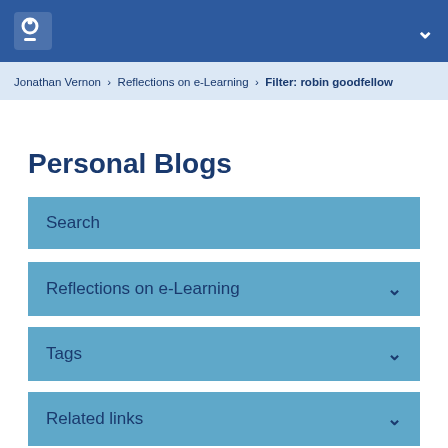Open University logo header with navigation chevron
Jonathan Vernon > Reflections on e-Learning > Filter: robin goodfellow
Personal Blogs
Search
Reflections on e-Learning
Tags
Related links
Blog usage